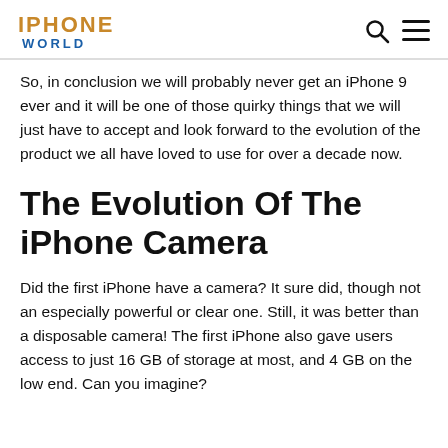IPHONE WORLD
So, in conclusion we will probably never get an iPhone 9 ever and it will be one of those quirky things that we will just have to accept and look forward to the evolution of the product we all have loved to use for over a decade now.
The Evolution Of The iPhone Camera
Did the first iPhone have a camera? It sure did, though not an especially powerful or clear one. Still, it was better than a disposable camera! The first iPhone also gave users access to just 16 GB of storage at most, and 4 GB on the low end. Can you imagine?